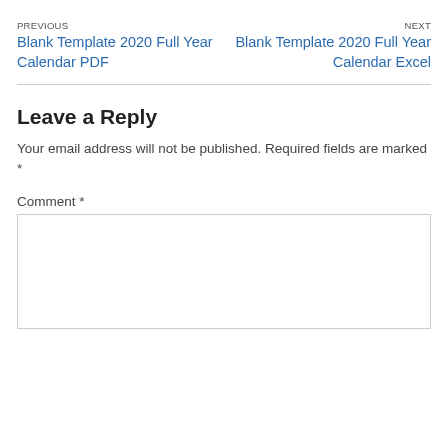PREVIOUS
Blank Template 2020 Full Year Calendar PDF
NEXT
Blank Template 2020 Full Year Calendar Excel
Leave a Reply
Your email address will not be published. Required fields are marked *
Comment *